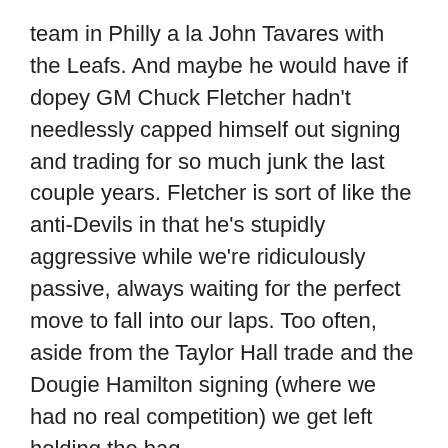team in Philly a la John Tavares with the Leafs. And maybe he would have if dopey GM Chuck Fletcher hadn't needlessly capped himself out signing and trading for so much junk the last couple years. Fletcher is sort of like the anti-Devils in that he's stupidly aggressive while we're ridiculously passive, always waiting for the perfect move to fall into our laps. Too often, aside from the Taylor Hall trade and the Dougie Hamilton signing (where we had no real competition) we get left holding the bag.
Yes there may be valid excuses for this although I'm quite frankly tired of it. Whether it's Kevin Fiala only signing with the Kings, Alex DeBrincat not signing an extension at all or whatever the heck happened in this case. Gaudreau publicly said goodbye to Calgary and their reported 8 year, $80 plus million offer citing 'family reasons'. Which most